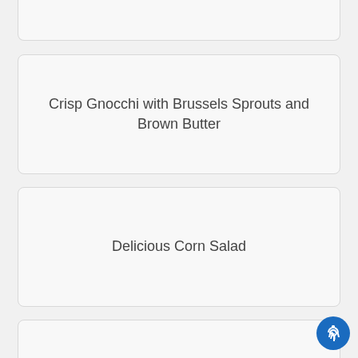Crisp Gnocchi with Brussels Sprouts and Brown Butter
Delicious Corn Salad
Easy Cabbage, Carrots and Kale Stir Fry